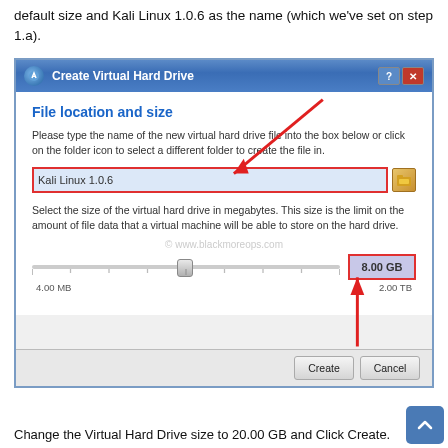default size and Kali Linux 1.0.6 as the name (which we've set on step 1.a).
[Figure (screenshot): Screenshot of VirtualBox 'Create Virtual Hard Drive' dialog showing 'File location and size' section. The filename input shows 'Kali Linux 1.0.6' highlighted with a red border. A slider shows a value of 8.00 GB (also highlighted with a red border) between 4.00 MB and 2.00 TB. Red arrows point to the filename input and the 8.00 GB size field. A watermark reads '© www.blackmoreops.com'. Buttons at the bottom: Create and Cancel.]
Change the Virtual Hard Drive size to 20.00 GB and Click Create.